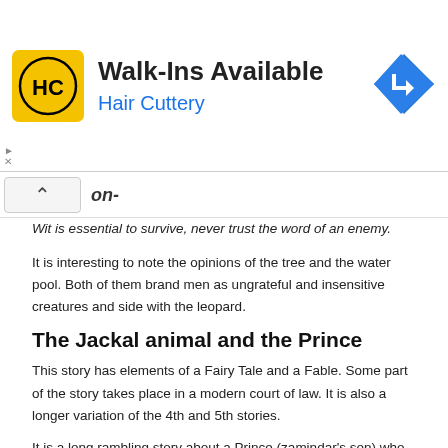[Figure (other): Hair Cuttery advertisement banner with logo, 'Walk-Ins Available' headline, blue 'Hair Cuttery' text, and blue diamond arrow icon on the right]
on-
Wit is essential to survive, never trust the word of an enemy.
It is interesting to note the opinions of the tree and the water pool. Both of them brand men as ungrateful and insensitive creatures and side with the leopard.
The Jackal animal and the Prince
This story has elements of a Fairy Tale and a Fable. Some part of the story takes place in a modern court of law. It is also a longer variation of the 4th and 5th stories.
It is a long rambling story about a Prince (zamindar's son) who has